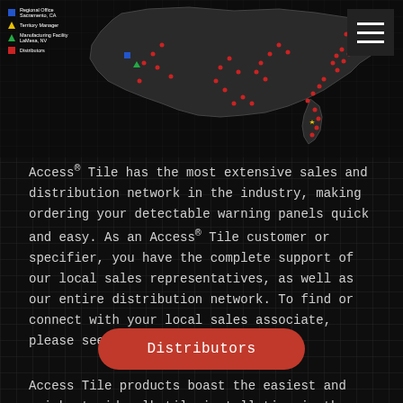[Figure (map): Dark-background map of the USA showing distribution network with red dots (distributors), blue squares (regional office Sacramento CA), gold star (territory manager), green triangle (manufacturing facility LaMesa NV) markers across the country. Legend in upper left.]
Access® Tile has the most extensive sales and distribution network in the industry, making ordering your detectable warning panels quick and easy. As an Access® Tile customer or specifier, you have the complete support of our local sales representatives, as well as our entire distribution network. To find or connect with your local sales associate, please see our Distributors page.
Distributors
Access Tile products boast the easiest and quickest sidewalk tile installation in the industry. Our truncated dome tiles and